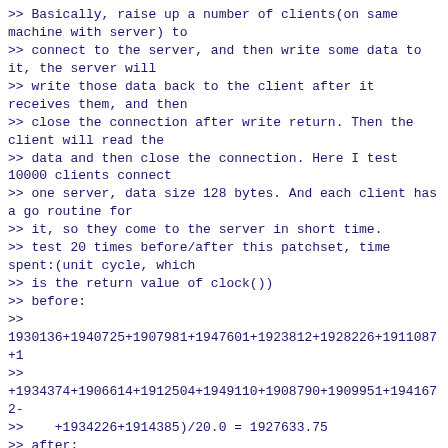>> Basically, raise up a number of clients(on same machine with server) to
>> connect to the server, and then write some data to it, the server will
>> write those data back to the client after it receives them, and then
>> close the connection after write return. Then the client will read the
>> data and then close the connection. Here I test 10000 clients connect
>> one server, data size 128 bytes. And each client has a go routine for
>> it, so they come to the server in short time.
>> test 20 times before/after this patchset, time spent:(unit cycle, which
>> is the return value of clock())
>> before:
>>
1930136+1940725+1907981+1947601+1923812+1928226+1911087+1
>>
+1934374+1906614+1912504+1949110+1908790+1909951+1941672-
>>    +1934226+1914385)/20.0 = 1927633.75
>> after:
>>
1858905+1917104+1895455+1963963+1892706+1889208+1874175+1
>>
+1874985+1882706+1884642+1864694+1906508+1916150+1924250-
>>    +1871324+1940803)/20.0 = 1894750.45
>>
>> (1927633.75 - 1894750.45) / 1927633.75 = 1.65%